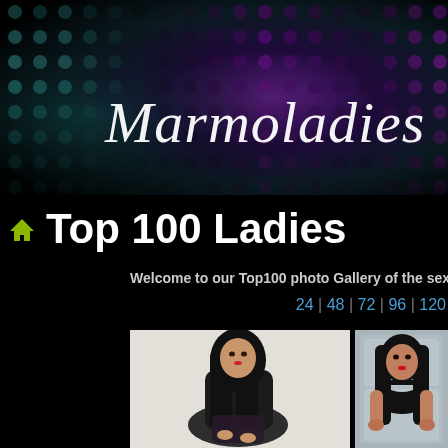[Figure (screenshot): Marmoladies website header with dark dot-pattern background in teal and purple gradient tones, featuring the cursive logo text 'Marmoladies']
Top 100 Ladies
Welcome to our Top100 photo Gallery of the sexiest single women. Choose
24 | 48 | 72 | 96 | 120
[Figure (photo): Young woman with long dark hair wearing black outfit, seated pose against white brick wall background]
[Figure (photo): Young woman with long dark hair wearing black top and choker necklace, against grey paneled wall background]